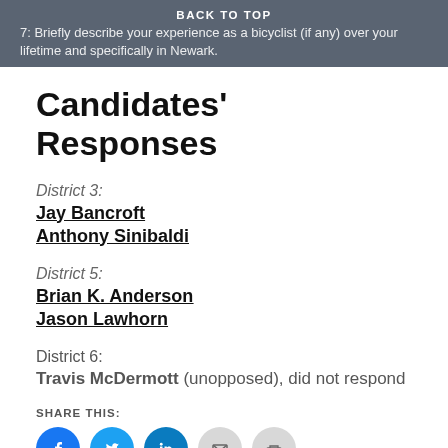7. Briefly describe your experience as a bicyclist (if any) over your lifetime and specifically in Newark.
BACK TO TOP
Candidates' Responses
District 3:
Jay Bancroft
Anthony Sinibaldi
District 5:
Brian K. Anderson
Jason Lawhorn
District 6:
Travis McDermott (unopposed), did not respond
SHARE THIS: